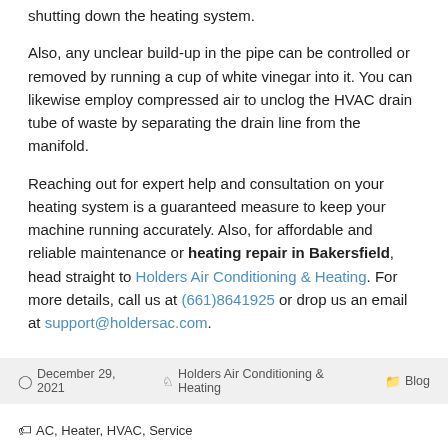shutting down the heating system.
Also, any unclear build-up in the pipe can be controlled or removed by running a cup of white vinegar into it. You can likewise employ compressed air to unclog the HVAC drain tube of waste by separating the drain line from the manifold.
Reaching out for expert help and consultation on your heating system is a guaranteed measure to keep your machine running accurately. Also, for affordable and reliable maintenance or heating repair in Bakersfield, head straight to Holders Air Conditioning & Heating. For more details, call us at (661)8641925 or drop us an email at support@holdersac.com.
December 29, 2021  Holders Air Conditioning & Heating  Blog  AC, Heater, HVAC, Service